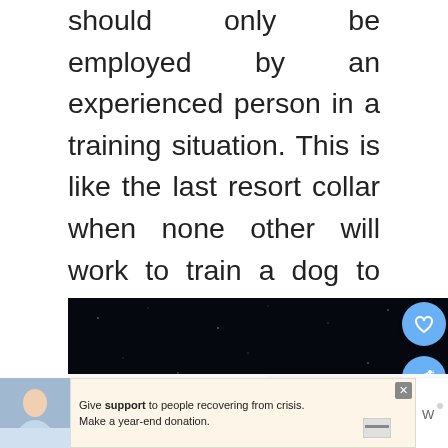should only be employed by an experienced person in a training situation. This is like the last resort collar when none other will work to train a dog to walk nicely on a leash. Again, I would strongly discourage anyone from using one of these on a Shih Tzu dog.
[Figure (photo): Dark/black image, possibly a night sky with faint stars or speckles on a very dark background.]
This site uses cookies. Please accept their use before continuing. Privacy Statement
[Figure (photo): WHAT'S NEXT thumbnail showing a Shih Tzu dog, labeled '10 Best Shih Tzu Haircuts...']
[Figure (photo): Advertisement showing a person with text 'Give support to people recovering from crisis. Make a year-end donation.']